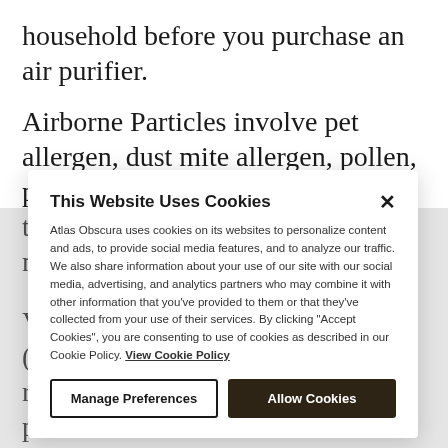household before you purchase an air purifier.
Airborne Particles involve pet allergen, dust mite allergen, pollen, plant spores, fungi, mould, and tobacco smoke, and they are the most common
This Website Uses Cookies
Atlas Obscura uses cookies on its websites to personalize content and ads, to provide social media features, and to analyze our traffic. We also share information about your use of our site with our social media, advertising, and analytics partners who may combine it with other information that you've provided to them or that they've collected from your use of their services. By clicking "Accept Cookies", you are consenting to use of cookies as described in our Cookie Policy. View Cookie Policy
Volatile Natural Compounds (VOCs) are observed in a broad range of prevalent family goods: paints